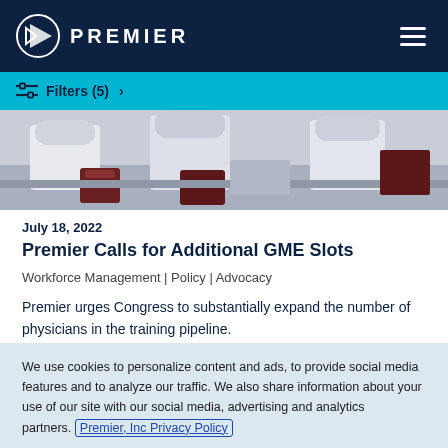PREMIER
Filters (5) >
[Figure (photo): People in white lab coats sitting at desks working, viewed from behind]
July 18, 2022
Premier Calls for Additional GME Slots
Workforce Management | Policy | Advocacy
Premier urges Congress to substantially expand the number of physicians in the training pipeline.
Read more >
We use cookies to personalize content and ads, to provide social media features and to analyze our traffic. We also share information about your use of our site with our social media, advertising and analytics partners. Premier, Inc Privacy Policy